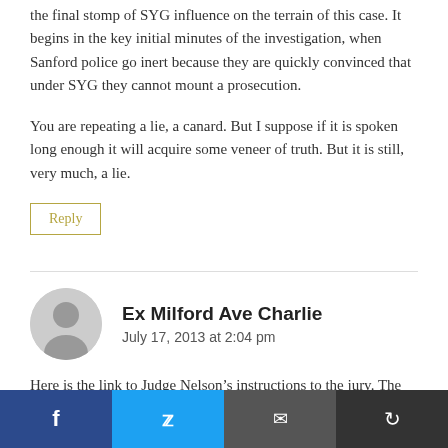the final stomp of SYG influence on the terrain of this case. It begins in the key initial minutes of the investigation, when Sanford police go inert because they are quickly convinced that under SYG they cannot mount a prosecution.
You are repeating a lie, a canard. But I suppose if it is spoken long enough it will acquire some veneer of truth. But it is still, very much, a lie.
Reply
Ex Milford Ave Charlie
July 17, 2013 at 2:04 pm
Here is the link to Judge Nelson’s instructions to the jury. The “Stand Your Ground” law is not explicitly discussed, the phrase is used in the judge’s instructions. Not to put to fine